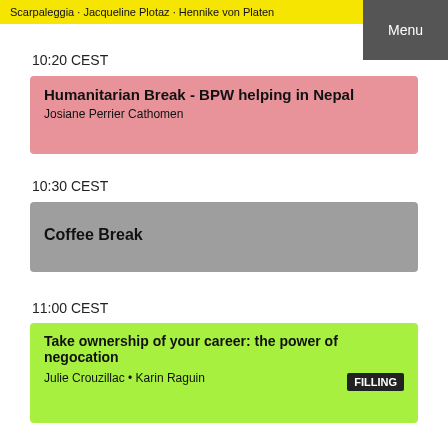Scarpaleggia • Jacqueline Plotaz • Hennike von Platen
Menu
10:20 CEST
Humanitarian Break - BPW helping in Nepal
Josiane Perrier Cathomen
10:30 CEST
Coffee Break
11:00 CEST
Take ownership of your career: the power of negocation
Julie Crouzillac • Karin Raguin
FILLING